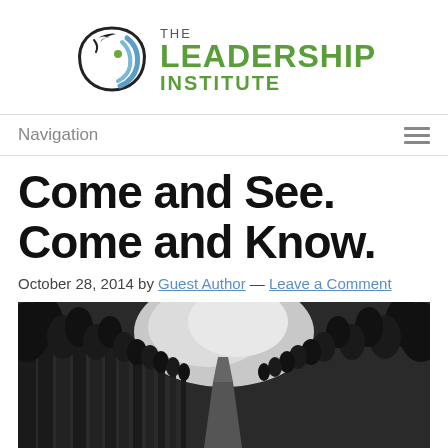[Figure (logo): The Leadership Institute logo — circular swirl graphic with a bird, beside the text 'THE LEADERSHIP INSTITUTE' in green]
Navigation
Come and See. Come and Know.
October 28, 2014 by Guest Author — Leave a Comment
[Figure (photo): Black and white photograph of a long tree-lined path or avenue, bare winter trees on both sides forming a corridor, cloudy sky visible above]